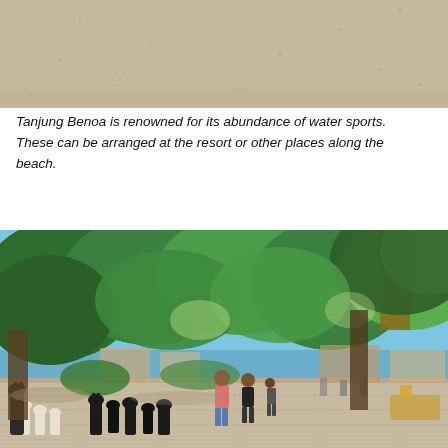[Figure (photo): Top portion of a photo showing sandy beach surface, partially cropped at top of page.]
Tanjung Benoa is renowned for its abundance of water sports. These can be arranged at the resort or other places along the beach.
[Figure (photo): Outdoor plaza or resort area with large tropical trees providing shade, people walking along a paved path, and large chess pieces visible in the foreground on the left side. Blue sky visible through the tree canopy.]